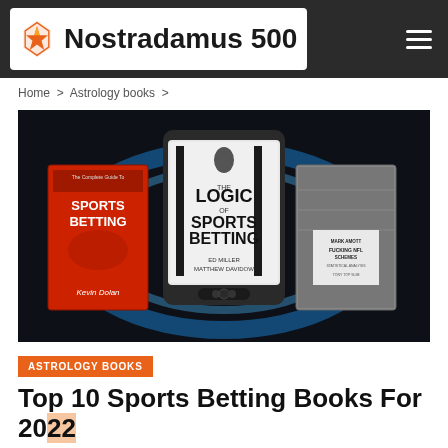Nostradamus 500
Home > Astrology books >
[Figure (photo): Promotional banner showing three sports betting books: 'The Complete Guide To Sports Betting' by Kevin Dolan (red cover), 'The Logic of Sports Betting' by Ed Miller & Matthew Davidow (shown on an e-reader/tablet), and a third book related to NFL, against a dark background with blue glowing light.]
ASTROLOGY BOOKS
Top 10 Sports Betting Books For 2022